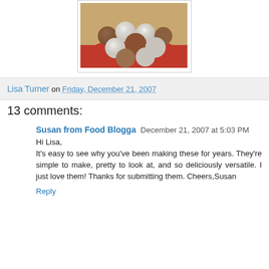[Figure (photo): Photo of chocolate truffles, some dusted with powdered sugar and some with cocoa powder, piled on a red plate]
Lisa Turner on Friday, December 21, 2007
13 comments:
Susan from Food Blogga  December 21, 2007 at 5:03 PM
Hi Lisa,
It's easy to see why you've been making these for years. They're simple to make, pretty to look at, and so deliciously versatile. I just love them! Thanks for submitting them. Cheers,Susan
Reply